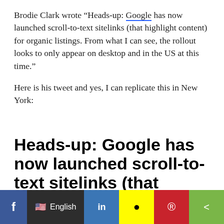Brodie Clark wrote “Heads-up: Google has now launched scroll-to-text sitelinks (that highlight content) for organic listings. From what I can see, the rollout looks to only appear on desktop and in the US at this time.”
Here is his tweet and yes, I can replicate this in New York:
[Figure (screenshot): Tweet screenshot showing bold text: Heads-up: Google has now launched scroll-to-text sitelinks (that highlight content) for organic listings. From what I can (cut off)]
[Figure (infographic): Social sharing bar at bottom with Facebook, English language selector, LinkedIn, Snapchat, Pinterest, and share buttons]